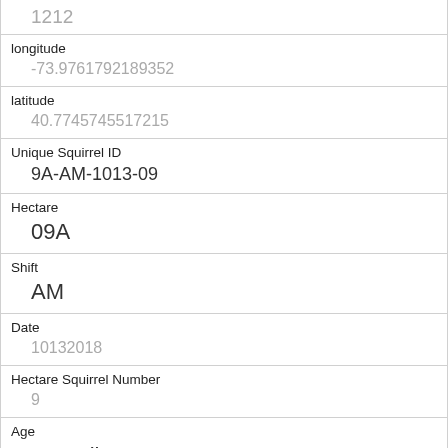| Field | Value |
| --- | --- |
|  | 1212 |
| longitude | -73.9761792189352 |
| latitude | 40.7745745517215 |
| Unique Squirrel ID | 9A-AM-1013-09 |
| Hectare | 09A |
| Shift | AM |
| Date | 10132018 |
| Hectare Squirrel Number | 9 |
| Age | Juvenile |
| Primary Fur Color | Cinnamon |
| Highlight Fur Color |  |